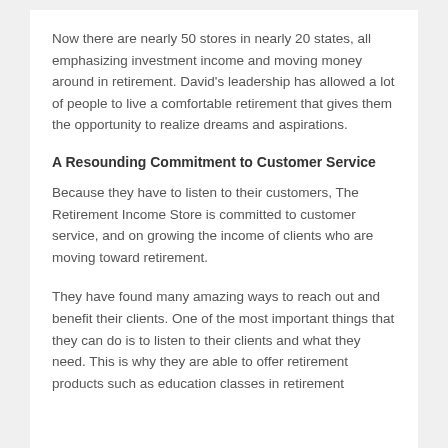Now there are nearly 50 stores in nearly 20 states, all emphasizing investment income and moving money around in retirement. David's leadership has allowed a lot of people to live a comfortable retirement that gives them the opportunity to realize dreams and aspirations.
A Resounding Commitment to Customer Service
Because they have to listen to their customers, The Retirement Income Store is committed to customer service, and on growing the income of clients who are moving toward retirement.
They have found many amazing ways to reach out and benefit their clients. One of the most important things that they can do is to listen to their clients and what they need. This is why they are able to offer retirement products such as education classes in retirement